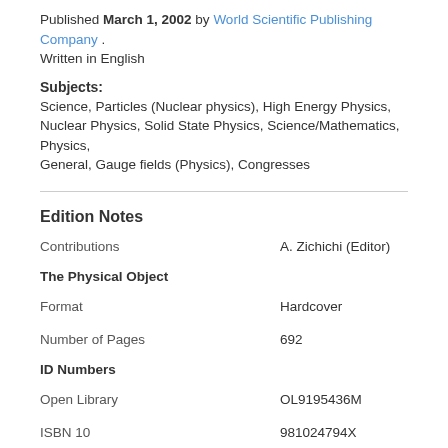Published March 1, 2002 by World Scientific Publishing Company . Written in English
Subjects: Science, Particles (Nuclear physics), High Energy Physics, Nuclear Physics, Solid State Physics, Science/Mathematics, Physics, General, Gauge fields (Physics), Congresses
Edition Notes
| Contributions | A. Zichichi (Editor) |
| The Physical Object |  |
| Format | Hardcover |
| Number of Pages | 692 |
| ID Numbers |  |
| Open Library | OL9195436M |
| ISBN 10 | 981024794X |
| ISBN 10 | 9789810247942 |